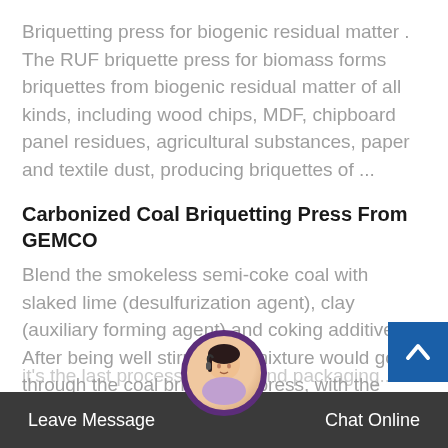Briquetting press for biogenic residual matter . The RUF briquette press for biomass forms briquettes from biogenic residual matter of all kinds, including wood chips, MDF, chipboard panel residues, agricultural substances, paper and textile dust, producing briquettes of ...
Carbonized Coal Briquetting Press From GEMCO
Blend the smokeless semi-coke coal with slaked lime (desulfurization agent), clay (auxiliary forming agent) and coking additives. After being well stirred, the mixture would go through the coal briquetting press, with the normal temperature and the mechanic pressure of about 300-500 kg/cm2, the fine carbonized coal briquettes are produced, the
Leave Message   Chat Online